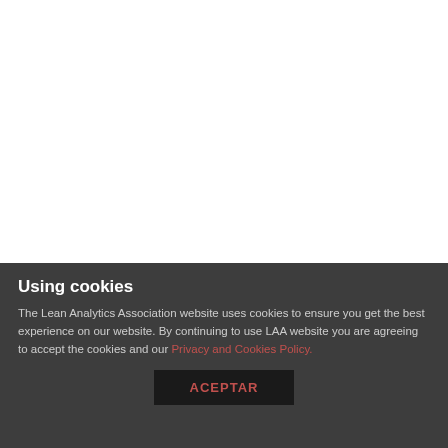[Figure (screenshot): White/blank upper area of a webpage screenshot]
Using cookies
The Lean Analytics Association website uses cookies to ensure you get the best experience on our website. By continuing to use LAA website you are agreeing to accept the cookies and our Privacy and Cookies Policy.
ACEPTAR